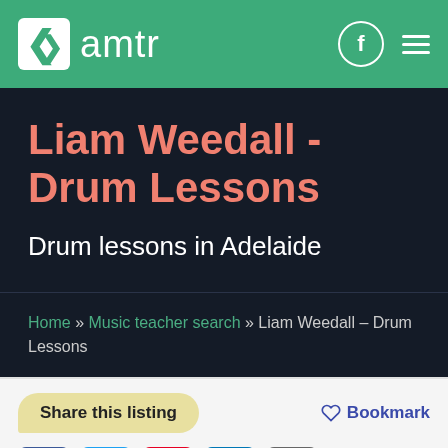amtr
Liam Weedall - Drum Lessons
Drum lessons in Adelaide
Home » Music teacher search » Liam Weedall – Drum Lessons
Share this listing
♡ Bookmark